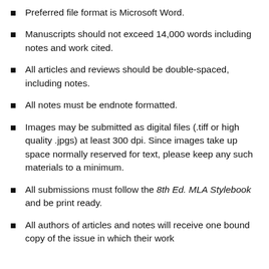Preferred file format is Microsoft Word.
Manuscripts should not exceed 14,000 words including notes and work cited.
All articles and reviews should be double-spaced, including notes.
All notes must be endnote formatted.
Images may be submitted as digital files (.tiff or high quality .jpgs) at least 300 dpi. Since images take up space normally reserved for text, please keep any such materials to a minimum.
All submissions must follow the 8th Ed. MLA Stylebook and be print ready.
All authors of articles and notes will receive one bound copy of the issue in which their work